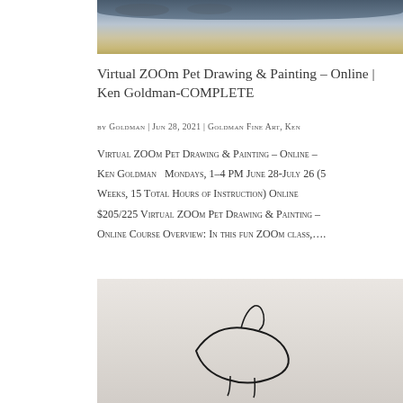[Figure (photo): Top portion of a painting showing blue-grey tones, likely a seascape or animal painting, cropped at top of page]
Virtual ZOOm Pet Drawing & Painting – Online | Ken Goldman-COMPLETE
by Goldman | Jun 28, 2021 | Goldman Fine Art, Ken
Virtual ZOOm Pet Drawing & Painting – Online – Ken Goldman   Mondays, 1–4 PM June 28-July 26 (5 Weeks, 15 Total Hours of Instruction) Online $205/225 Virtual ZOOm Pet Drawing & Painting – Online Course Overview: In this fun ZOOm class,….
[Figure (photo): Bottom portion showing a light grey background with a hand-drawn sketch outline of what appears to be an animal or pet in pencil/ink]